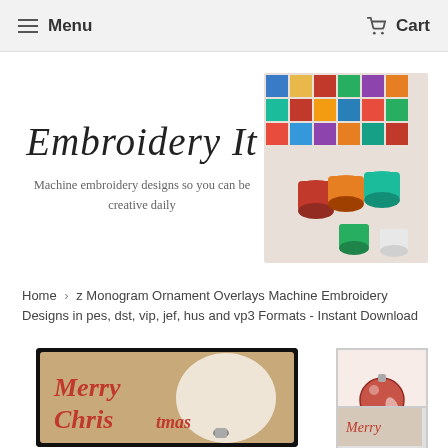Menu   Cart
[Figure (logo): Embroidery It logo with cursive text and product photo of colorful thread spools on stained glass pattern]
Machine embroidery designs so you can be creative daily
Home › z Monogram Ornament Overlays Machine Embroidery Designs in pes, dst, vip, jef, hus and vp3 Formats - Instant Download
[Figure (photo): Product photo showing Merry Christmas embroidery design on kraft paper background]
[Figure (photo): Thumbnail of Christmas ornament embroidery design]
[Figure (photo): Thumbnail of another product view]